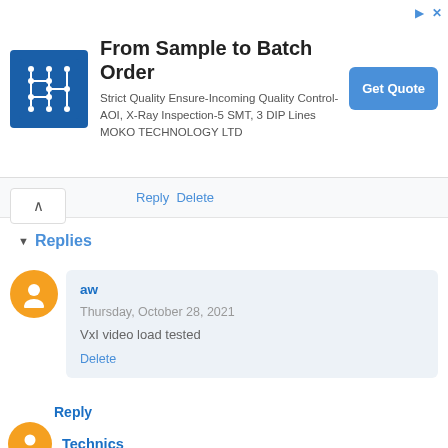[Figure (infographic): Ad banner: MOKO TECHNOLOGY LTD — From Sample to Batch Order. Logo on left (blue with circuit pattern), text in center, blue Get Quote button on right.]
Reply Delete
Replies
aw
Thursday, October 28, 2021
VxI video load tested
Delete
Reply
Technics